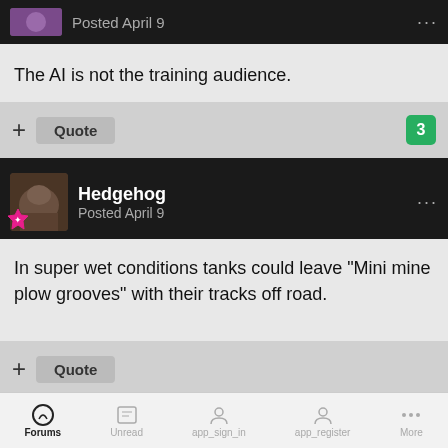Posted April 9
The AI is not the training audience.
+ Quote   3
Hedgehog
Posted April 9
In super wet conditions tanks could leave "Mini mine plow grooves" with their tracks off road.
+ Quote
Kilo60
Forums   Unread   app_sign_in   app_register   More